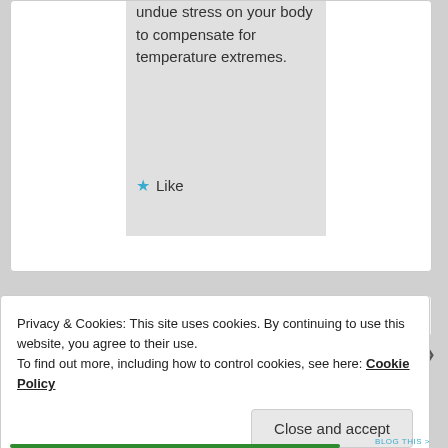undue stress on your body to compensate for temperature extremes.
★ Like
Privacy & Cookies: This site uses cookies. By continuing to use this website, you agree to their use.
To find out more, including how to control cookies, see here: Cookie Policy
Close and accept